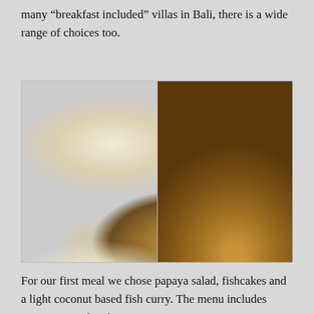many "breakfast included" villas in Bali, there is a wide range of choices too.
[Figure (photo): Two side-by-side food photos: left shows a spread of Balinese dishes including rice, coconut curry, and appetizers on a woven mat; right shows a fresh coconut drink decorated with red hibiscus flowers and a straw, served on a plate.]
For our first meal we chose papaya salad, fishcakes and a light coconut based fish curry. The menu includes Asian inspired and western favourites. Well that was a good start...